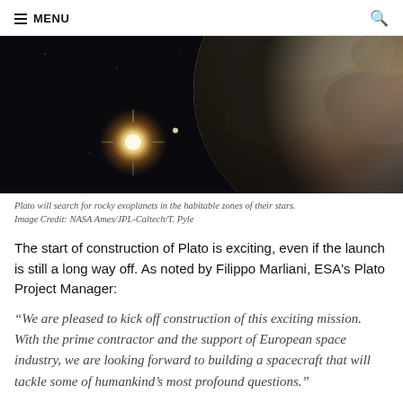MENU
[Figure (illustration): Artistic rendering of a rocky exoplanet in the foreground against a black space background, with a bright star or sun visible in the lower-left distance.]
Plato will search for rocky exoplanets in the habitable zones of their stars. Image Credit: NASA Ames/JPL-Caltech/T. Pyle
The start of construction of Plato is exciting, even if the launch is still a long way off. As noted by Filippo Marliani, ESA's Plato Project Manager:
“We are pleased to kick off construction of this exciting mission. With the prime contractor and the support of European space industry, we are looking forward to building a spacecraft that will tackle some of humankind's most profound questions.”